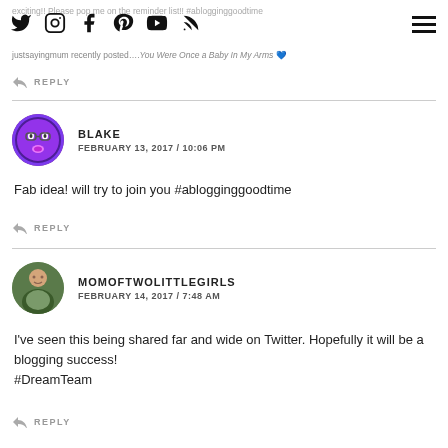exciting!! Please pop me on the reminder list!! #ablogginggoodtime
[Figure (other): Social media icons: Twitter, Instagram, Facebook, Pinterest, YouTube, RSS]
justsayingmum recently posted….You Were Once a Baby In My Arms 💙
↩ REPLY
BLAKE
FEBRUARY 13, 2017 / 10:06 PM
Fab idea! will try to join you #ablogginggoodtime
↩ REPLY
MOMOFTWOLITTLEGIRLS
FEBRUARY 14, 2017 / 7:48 AM
I've seen this being shared far and wide on Twitter. Hopefully it will be a blogging success!
#DreamTeam
↩ REPLY